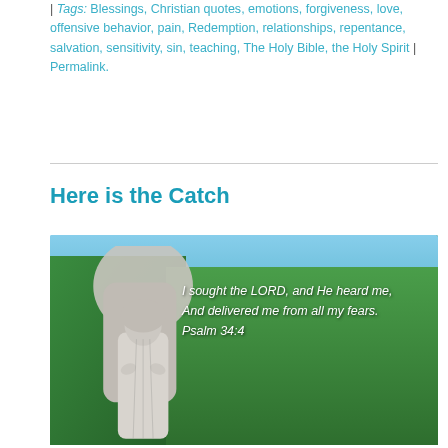| Tags: Blessings, Christian quotes, emotions, forgiveness, love, offensive behavior, pain, Redemption, relationships, repentance, salvation, sensitivity, sin, teaching, The Holy Bible, the Holy Spirit | Permalink.
Here is the Catch
[Figure (photo): A stone statue of a robed figure on the left side, with lush green trees in the background and blue sky. White text overlay reads: 'I sought the LORD, and He heard me, And delivered me from all my fears. Psalm 34:4']